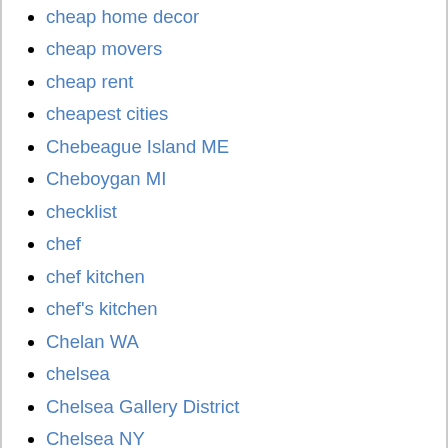cheap home decor
cheap movers
cheap rent
cheapest cities
Chebeague Island ME
Cheboygan MI
checklist
chef
chef kitchen
chef's kitchen
Chelan WA
chelsea
Chelsea Gallery District
Chelsea NY
chemicals
cher
Cherry Hills Village CO
Chesapeake Bay
chess